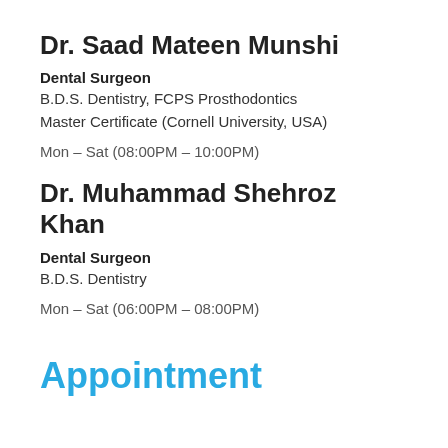Dr. Saad Mateen Munshi
Dental Surgeon
B.D.S. Dentistry, FCPS Prosthodontics
Master Certificate (Cornell University, USA)
Mon – Sat (08:00PM – 10:00PM)
Dr. Muhammad Shehroz Khan
Dental Surgeon
B.D.S. Dentistry
Mon – Sat (06:00PM – 08:00PM)
Appointment